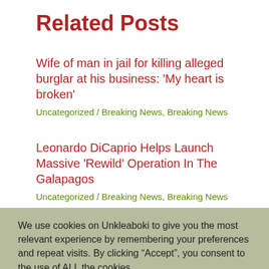Related Posts
Wife of man in jail for killing alleged burglar at his business: ‘My heart is broken’
Uncategorized / Breaking News, Breaking News
Leonardo DiCaprio Helps Launch Massive ‘Rewild’ Operation In The Galapagos
Uncategorized / Breaking News, Breaking News
We use cookies on Unkleaboki to give you the most relevant experience by remembering your preferences and repeat visits. By clicking “Accept”, you consent to the use of ALL the cookies.
Do not sell my personal information.
Cookie settings
ACCEPT